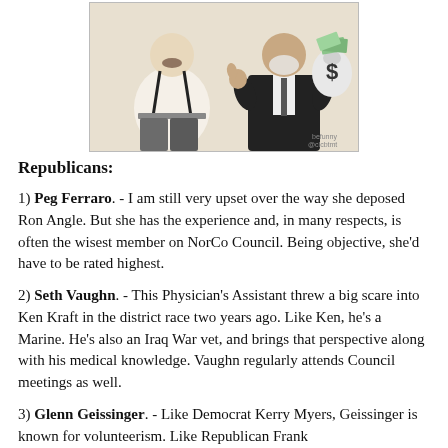[Figure (photo): Two figures: a heavyset man with suspenders on the left, and an older man in a suit holding a money bag with a dollar sign on the right, both posed against a white background. Watermark text visible in lower right.]
Republicans:
1) Peg Ferraro. - I am still very upset over the way she deposed Ron Angle. But she has the experience and, in many respects, is often the wisest member on NorCo Council. Being objective, she'd have to be rated highest.
2) Seth Vaughn. - This Physician's Assistant threw a big scare into Ken Kraft in the district race two years ago. Like Ken, he's a Marine. He's also an Iraq War vet, and brings that perspective along with his medical knowledge. Vaughn regularly attends Council meetings as well.
3) Glenn Geissinger. - Like Democrat Kerry Myers, Geissinger is known for volunteerism. Like Republican Frank